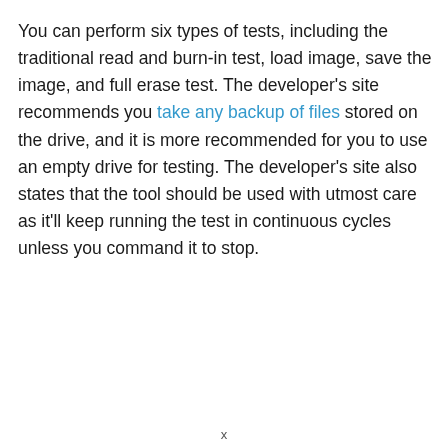You can perform six types of tests, including the traditional read and burn-in test, load image, save the image, and full erase test. The developer's site recommends you take any backup of files stored on the drive, and it is more recommended for you to use an empty drive for testing. The developer's site also states that the tool should be used with utmost care as it'll keep running the test in continuous cycles unless you command it to stop.
x